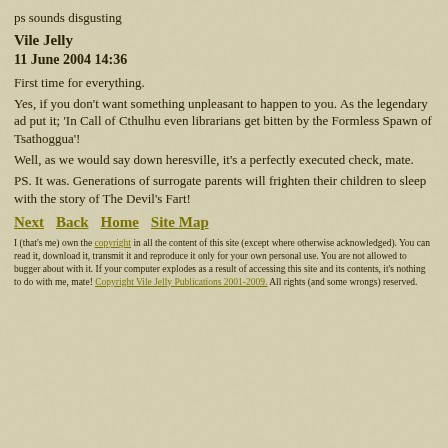ps sounds disgusting
Vile Jelly
11 June 2004 14:36
First time for everything.
Yes, if you don't want something unpleasant to happen to you. As the legendary ad put it; 'In Call of Cthulhu even librarians get bitten by the Formless Spawn of Tsathoggua'!
Well, as we would say down heresville, it's a perfectly executed check, mate.
PS. It was. Generations of surrogate parents will frighten their children to sleep with the story of The Devil's Fart!
Next   Back   Home   Site Map
I (that's me) own the copyright in all the content of this site (except where otherwise acknowledged). You can read it, download it, transmit it and reproduce it only for your own personal use. You are not allowed to bugger about with it. If your computer explodes as a result of accessing this site and its contents, it's nothing to do with me, mate! Copyright Vile Jelly Publications 2001-2009. All rights (and some wrongs) reserved.